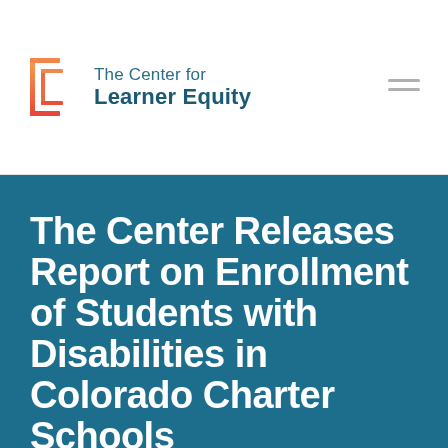[Figure (logo): The Center for Learner Equity logo: stylized bracket with 'LE' letters in orange/pink gradient, with organization name in teal text]
The Center Releases Report on Enrollment of Students with Disabilities in Colorado Charter Schools